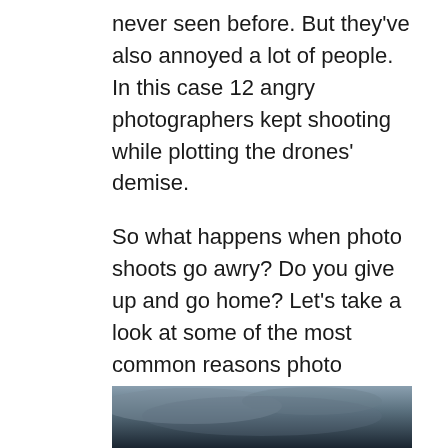never seen before.  But they've also annoyed a lot of people.  In this case 12 angry photographers kept shooting while plotting the drones' demise.
So what happens when photo shoots go awry?  Do you give up and go home?  Let's take a look at some of the most common reasons photo shoots fail.  Next week we'll show you how to turn lemons into lemonade.
[Figure (photo): Bottom portion of a dark atmospheric sky/cloud photo, partially visible at the bottom of the page.]